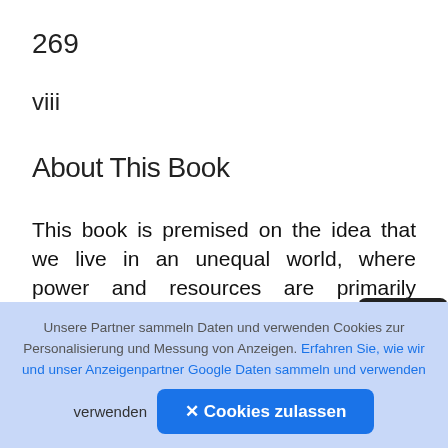269
viii
About This Book
This book is premised on the idea that we live in an unequal world, where power and resources are primarily distributed in the interest of the rich and powerful. Our experience shows us that community development is one way of building engaged and democratic organisations to create personal, community and social change that helps
Unsere Partner sammeln Daten und verwenden Cookies zur Personalisierung und Messung von Anzeigen. Erfahren Sie, wie wir und unser Anzeigenpartner Google Daten sammeln und verwenden
✕ Cookies zulassen